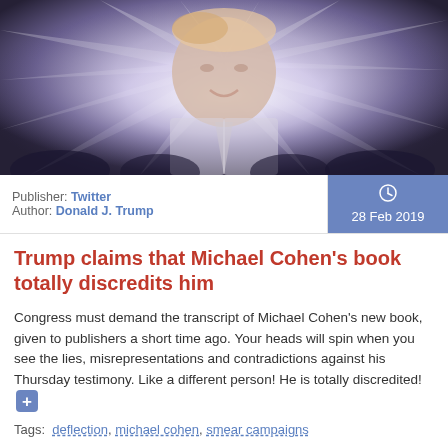[Figure (illustration): Stylized illustration of Donald Trump with rays of light emanating from behind him against a dark purple/blue crowd background]
Publisher: Twitter
Author: Donald J. Trump
28 Feb 2019
Trump claims that Michael Cohen's book totally discredits him
Congress must demand the transcript of Michael Cohen's new book, given to publishers a short time ago. Your heads will spin when you see the lies, misrepresentations and contradictions against his Thursday testimony. Like a different person! He is totally discredited!
Tags: deflection, michael cohen, smear campaigns